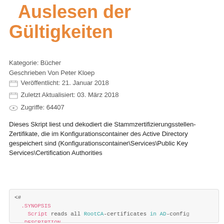Auslesen der Gültigkeiten
Kategorie: Bücher
Geschrieben Von Peter Kloep
Veröffentlicht: 21. Januar 2018
Zuletzt Aktualisiert: 03. März 2018
Zugriffe: 64407
Dieses Skript liest und dekodiert die Stammzertifizierungsstellen-Zertifikate, die im Konfigurationscontainer des Active Directory gespeichert sind (Konfigurationscontainer\Services\Public Key Services\Certification Authorities
[Figure (screenshot): PowerShell code block showing a script with syntax highlighting: <# .SYNOPSIS Script reads all RootCA-certificates in AD-config... .DESCRIPTION Script uses AD-PowerShell-module to read CA-cert... tested on Windows Server 2012 R2 and Windows Serv... CAName.tmp is created to get a "hex-based"-certi... .PREREQUISITES PowerShell AD-Module needed]